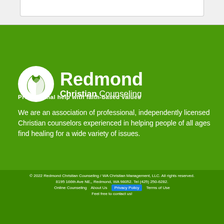[Figure (logo): Redmond Christian Counseling logo — white leaf/hand icon on green background with text 'Redmond Christian Counseling']
Professional help with faith-based values
We are an association of professional, independently licensed Christian counselors experienced in helping people of all ages find healing for a wide variety of issues.
© 2022 Redmond Christian Counseling / WA Christian Management, LLC. All rights reserved.
8195 166th Ave NE,, Redmond, WA 98052. Tel (425) 250-6282.
Online Counseling   About Us   Privacy Policy   Terms of Use
Feel free to contact us!